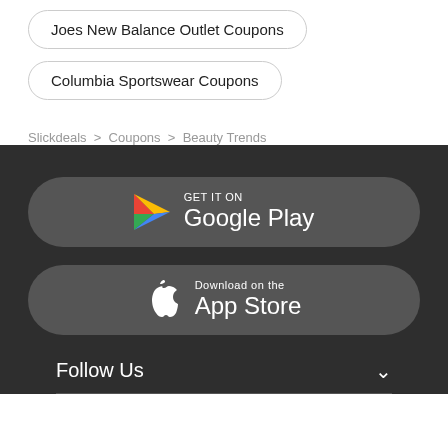Joes New Balance Outlet Coupons
Columbia Sportswear Coupons
Slickdeals > Coupons > Beauty Trends
[Figure (other): Get it on Google Play store button]
[Figure (other): Download on the App Store button]
Follow Us